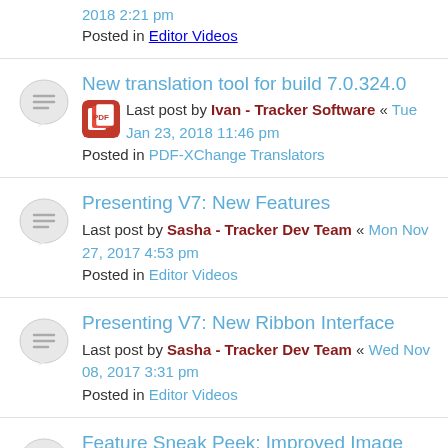2018 2:21 pm
Posted in Editor Videos
New translation tool for build 7.0.324.0 — Last post by Ivan - Tracker Software « Tue Jan 23, 2018 11:46 pm — Posted in PDF-XChange Translators
Presenting V7: New Features — Last post by Sasha - Tracker Dev Team « Mon Nov 27, 2017 4:53 pm — Posted in Editor Videos
Presenting V7: New Ribbon Interface — Last post by Sasha - Tracker Dev Team « Wed Nov 08, 2017 3:31 pm — Posted in Editor Videos
Feature Sneak Peek: Improved Image